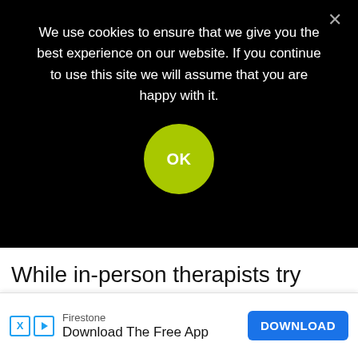We use cookies to ensure that we give you the best experience on our website. If you continue to use this site we will assume that you are happy with it.
While in-person therapists try their best to provide a warm, welcoming, and comfortable environment, it's still an unf...
[Figure (screenshot): Ad banner at bottom: Firestone logo area with X and play icons, text 'Firestone Download The Free App', blue DOWNLOAD button]